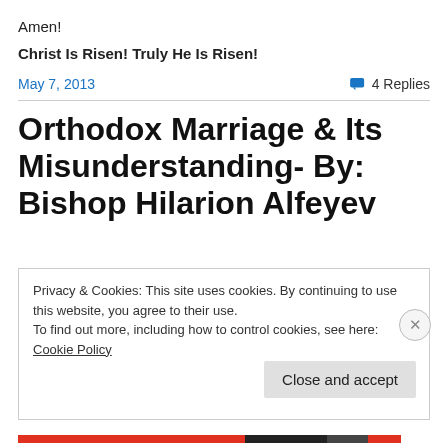Amen!
Christ Is Risen! Truly He Is Risen!
May 7, 2013
4 Replies
Orthodox Marriage & Its Misunderstanding- By: Bishop Hilarion Alfeyev
Privacy & Cookies: This site uses cookies. By continuing to use this website, you agree to their use.
To find out more, including how to control cookies, see here: Cookie Policy